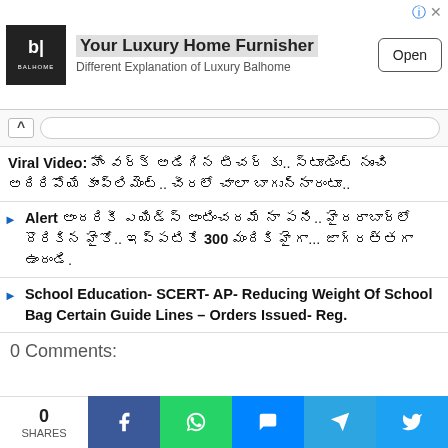[Figure (screenshot): Ad banner for Balhome luxury home furnisher with logo, title, subtitle, and Open button]
Viral Video: హోం వర్క్ అడిగిన టీచర్ కు.. స్టూడెంట్ నుంచి అదిరిపోయే కాంప్లిమెంట్.. చీరలో చాలా బాగున్నారంటూ..
Alert అందరికీ ఎయిడ్స్ అంటించదమే నా పని.. హైదరాబాద్లో దొరికిన హైకో.. ఇప్పటికే 300 మందికి హైగా... జాగ్రత్తగా ఉందండి.
School Education- SCERT- AP- Reducing Weight Of School Bag Certain Guide Lines – Orders Issued- Reg.
0 Comments:
0 SHARES